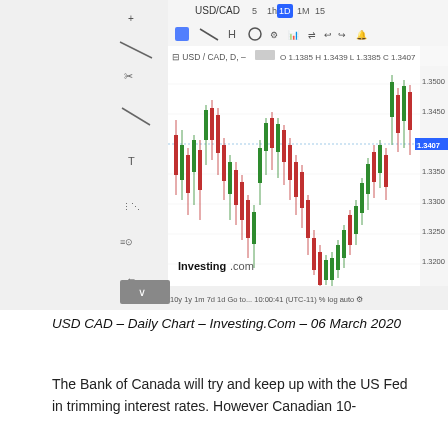[Figure (continuous-plot): USD/CAD daily candlestick chart from Investing.com dated 06 March 2020. Shows price action from approximately Oct 2019 to March 2020. O 1.1385 H 1.3439 L 1.3385 C 1.3407. Price ranges from ~1.2950 to ~1.3500. Current price marker at 1.3407. Chart includes toolbar with drawing tools on left side and timeframe controls at top.]
USD CAD – Daily Chart – Investing.Com – 06 March 2020
The Bank of Canada will try and keep up with the US Fed in trimming interest rates. However Canadian 10-